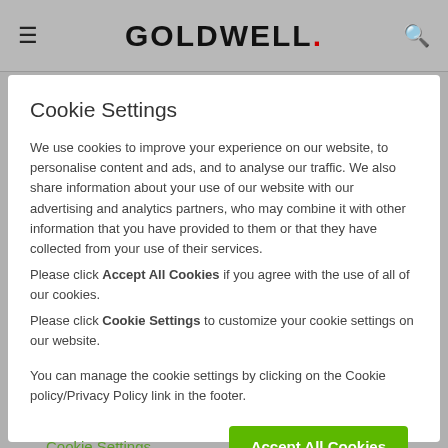GOLDWELL.
Cookie Settings
We use cookies to improve your experience on our website, to personalise content and ads, and to analyse our traffic. We also share information about your use of our website with our advertising and analytics partners, who may combine it with other information that you have provided to them or that they have collected from your use of their services.
Please click Accept All Cookies if you agree with the use of all of our cookies.
Please click Cookie Settings to customize your cookie settings on our website.
You can manage the cookie settings by clicking on the Cookie policy/Privacy Policy link in the footer.
Cookie Settings | Accept All Cookies